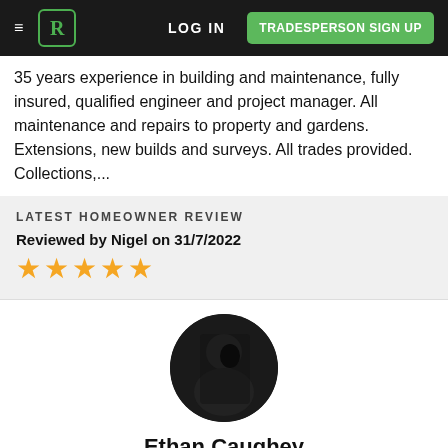LOG IN | TRADESPERSON SIGN UP
35 years experience in building and maintenance, fully insured, qualified engineer and project manager. All maintenance and repairs to property and gardens. Extensions, new builds and surveys. All trades provided. Collections,...
LATEST HOMEOWNER REVIEW
Reviewed by Nigel on 31/7/2022
[Figure (other): Five gold star rating]
[Figure (photo): Circular profile photo of Ethan Caughey, dark background]
Ethan Caughey
Storage in Shantallow
[Figure (other): Five gold stars rating with count (4) and Read reviews link]